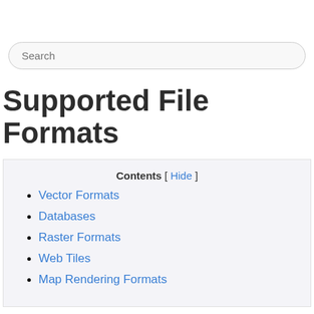Search
Supported File Formats
Contents [ Hide ]
Vector Formats
Databases
Raster Formats
Web Tiles
Map Rendering Formats